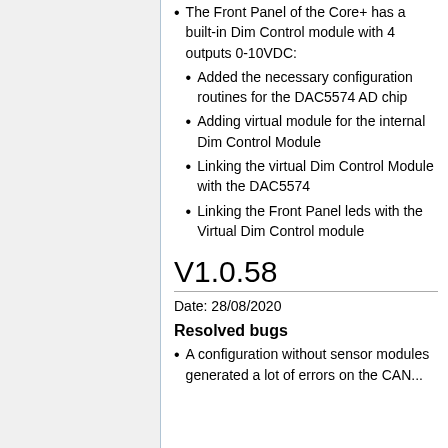The Front Panel of the Core+ has a built-in Dim Control module with 4 outputs 0-10VDC:
Added the necessary configuration routines for the DAC5574 AD chip
Adding virtual module for the internal Dim Control Module
Linking the virtual Dim Control Module with the DAC5574
Linking the Front Panel leds with the Virtual Dim Control module
V1.0.58
Date: 28/08/2020
Resolved bugs
A configuration without sensor modules generated a lot of errors on the CAN...